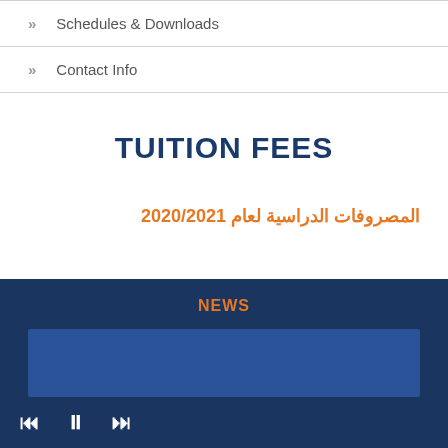» Schedules & Downloads
» Contact Info
TUITION FEES
المصروفات الدراسية لعام 2020/2021
NEWS